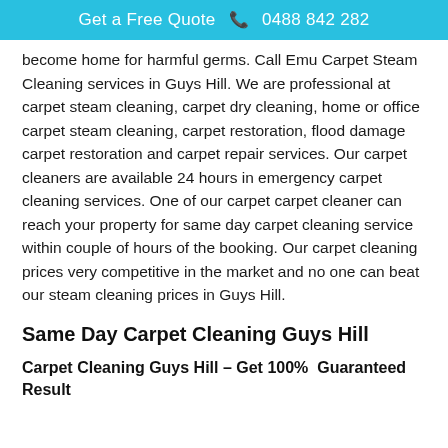Get a Free Quote  📞 0488 842 282
become home for harmful germs. Call Emu Carpet Steam Cleaning services in Guys Hill. We are professional at carpet steam cleaning, carpet dry cleaning, home or office carpet steam cleaning, carpet restoration, flood damage carpet restoration and carpet repair services. Our carpet cleaners are available 24 hours in emergency carpet cleaning services. One of our carpet carpet cleaner can reach your property for same day carpet cleaning service within couple of hours of the booking. Our carpet cleaning prices very competitive in the market and no one can beat our steam cleaning prices in Guys Hill.
Same Day Carpet Cleaning Guys Hill
Carpet Cleaning Guys Hill – Get 100%  Guaranteed Result